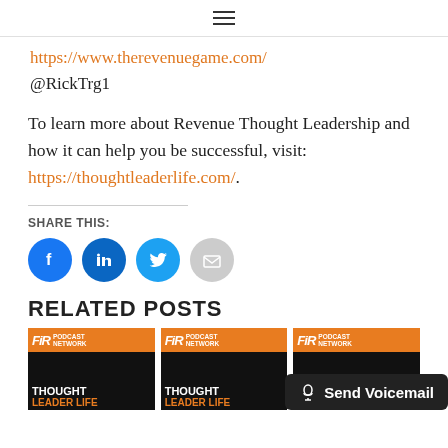≡
https://www.therevenuegame.com/
@RickTrg1
To learn more about Revenue Thought Leadership and how it can help you be successful, visit: https://thoughtleaderlife.com/.
SHARE THIS:
[Figure (infographic): Social share buttons: Facebook, LinkedIn, Twitter, Email]
RELATED POSTS
[Figure (photo): FIR Podcast Network – Thought Leader Life thumbnail 1]
[Figure (photo): FIR Podcast Network – Thought Leader Life thumbnail 2]
[Figure (photo): FIR Podcast Network – Thought Leader Life thumbnail 3]